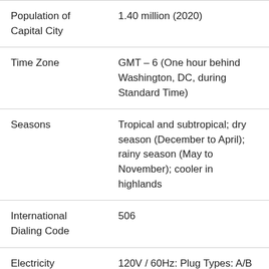| Field | Value |
| --- | --- |
| Population of Capital City | 1.40 million (2020) |
| Time Zone | GMT – 6 (One hour behind Washington, DC, during Standard Time) |
| Seasons | Tropical and subtropical; dry season (December to April); rainy season (May to November); cooler in highlands |
| International Dialing Code | 506 |
| Electricity | 120V / 60Hz: Plug Types: A/B |